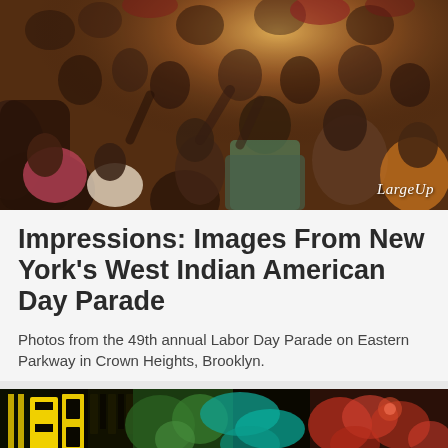[Figure (photo): A dense crowd scene from the West Indian American Day Parade, showing many people with warm golden sunlight filtering through. A watermark reading 'LargeUp' is visible in the bottom right corner of the image.]
Impressions: Images From New York's West Indian American Day Parade
Photos from the 49th annual Labor Day Parade on Eastern Parkway in Crown Heights, Brooklyn.
[Figure (photo): Bottom portion of a colorful illustrated/graphic art image featuring bold yellow, green, teal, and orange colors with stylized text and decorative patterns suggesting Caribbean carnival art.]